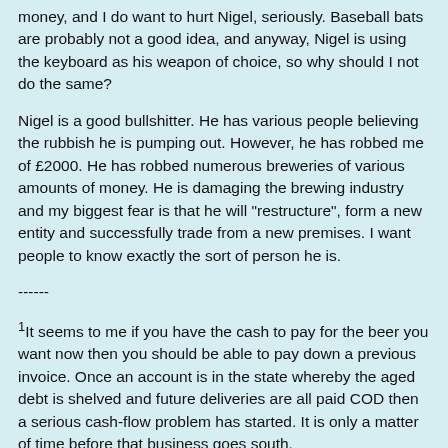money, and I do want to hurt Nigel, seriously. Baseball bats are probably not a good idea, and anyway, Nigel is using the keyboard as his weapon of choice, so why should I not do the same?
Nigel is a good bullshitter. He has various people believing the rubbish he is pumping out. However, he has robbed me of £2000. He has robbed numerous breweries of various amounts of money. He is damaging the brewing industry and my biggest fear is that he will "restructure", form a new entity and successfully trade from a new premises. I want people to know exactly the sort of person he is.
------
1It seems to me if you have the cash to pay for the beer you want now then you should be able to pay down a previous invoice. Once an account is in the state whereby the aged debt is shelved and future deliveries are all paid COD then a serious cash-flow problem has started. It is only a matter of time before that business goes south.